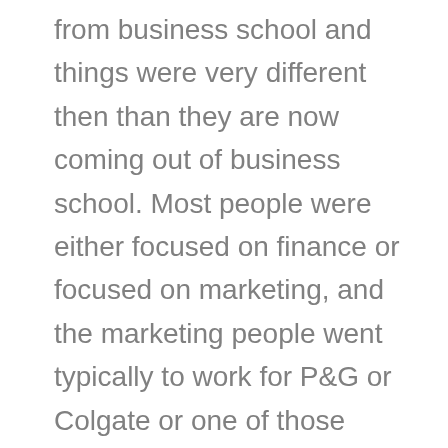from business school and things were very different then than they are now coming out of business school. Most people were either focused on finance or focused on marketing, and the marketing people went typically to work for P&G or Colgate or one of those kinds of companies and the finance people usually went to work either for an accounting firm or for a commercial bank to be involved in lending. A few people went to consulting firms and a few people went to work for what I would call "real" companies, meaning not a service organization – I'm talking about the